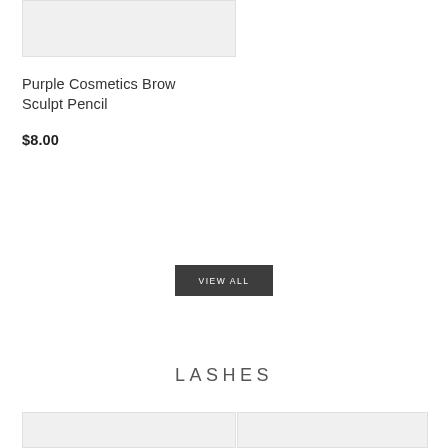[Figure (photo): Product image placeholder for Purple Cosmetics Brow Sculpt Pencil, light gray background]
Purple Cosmetics Brow Sculpt Pencil
$8.00
VIEW ALL
LASHES
[Figure (photo): Product image placeholder bottom left, light gray background]
[Figure (photo): Product image placeholder bottom right, light gray background]